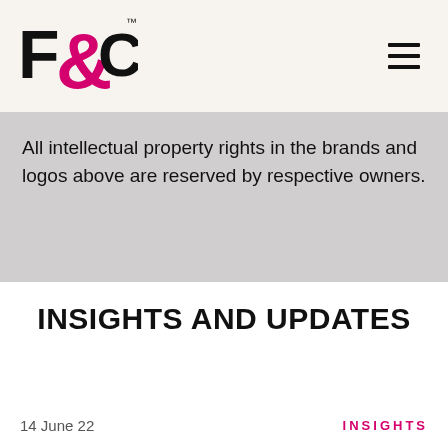[Figure (logo): F&C logo with pink ampersand and black F and C letters with trademark symbol]
All intellectual property rights in the brands and logos above are reserved by respective owners.
INSIGHTS AND UPDATES
14 June 22
INSIGHTS